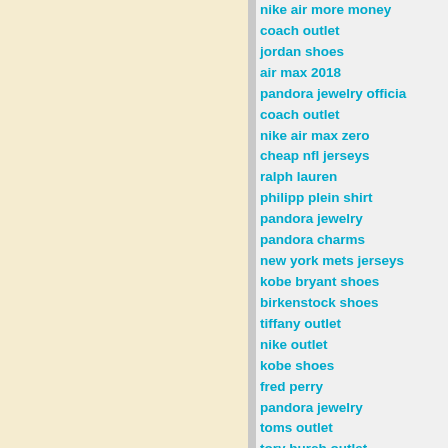nike air more money
coach outlet
jordan shoes
air max 2018
pandora jewelry officia
coach outlet
nike air max zero
cheap nfl jerseys
ralph lauren
philipp plein shirt
pandora jewelry
pandora charms
new york mets jerseys
kobe bryant shoes
birkenstock shoes
tiffany outlet
nike outlet
kobe shoes
fred perry
pandora jewelry
toms outlet
tory burch outlet
fitflops sale clearance
canada goose outlet
adidas yeezy
louis vuitton outlet onl
kate spade handbag